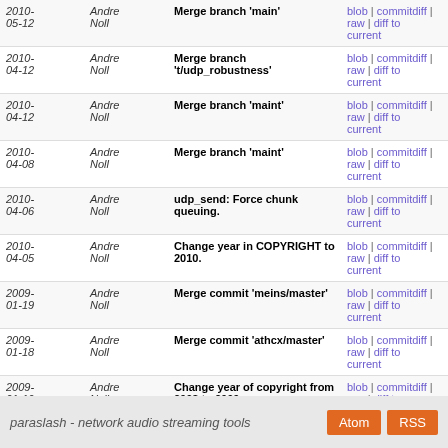| Date | Author | Message | Links |
| --- | --- | --- | --- |
| 2010-05-12 | Andre Noll | Merge branch 'main' | blob | commitdiff | raw | diff to current |
| 2010-04-12 | Andre Noll | Merge branch 't/udp_robustness' | blob | commitdiff | raw | diff to current |
| 2010-04-12 | Andre Noll | Merge branch 'maint' | blob | commitdiff | raw | diff to current |
| 2010-04-08 | Andre Noll | Merge branch 'maint' | blob | commitdiff | raw | diff to current |
| 2010-04-06 | Andre Noll | udp_send: Force chunk queuing. | blob | commitdiff | raw | diff to current |
| 2010-04-05 | Andre Noll | Change year in COPYRIGHT to 2010. | blob | commitdiff | raw | diff to current |
| 2009-01-19 | Andre Noll | Merge commit 'meins/master' | blob | commitdiff | raw | diff to current |
| 2009-01-18 | Andre Noll | Merge commit 'athcx/master' | blob | commitdiff | raw | diff to current |
| 2009-01-10 | Andre Noll | Change year of copyright from 2008 to 2009. | blob | commitdiff | raw | diff to current |
| 2008-04-12 | Andre Noll | chunk_queue: Store a pointer to the data and the chunk... | blob | commitdiff | raw | diff to current |
| 2008-01-08 | Andre Noll | Change year in Copyright comment from 2007 to 2008. | blob | commitdiff | raw | diff to current |
| 2007-08-12 | Andre Noll | Move chunk_queue stuff to own files chunk_queue.[ch]. | blob | commitdiff | raw | diff to current |
paraslash - network audio streaming tools